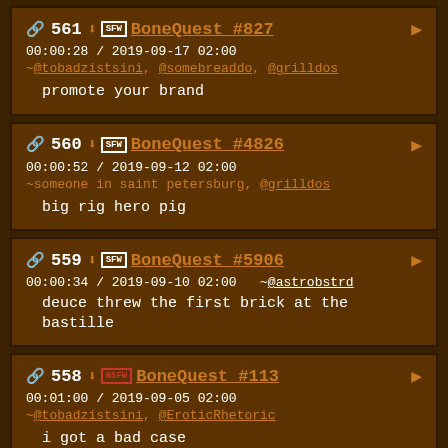561 SFW BoneQuest #827 ▶ 00:00:28 / 2019-09-17 02:00 ~@tobadzistsini, @somebreaddo, @grilldos promote your brand
560 SFW BoneQuest #4826 ▶ 00:00:52 / 2019-09-12 02:00 ~someone in saint petersburg, @grilldos big rig hero pig
559 SFW BoneQuest #5906 ▶ 00:00:34 / 2019-09-10 02:00 ~@astrobstrd deuce threw the first brick at the bastille
558 NSFW BoneQuest #113 ▶ 00:01:00 / 2019-09-05 02:00 ~@tobadzistsini, @EroticRhetoric i got a bad case